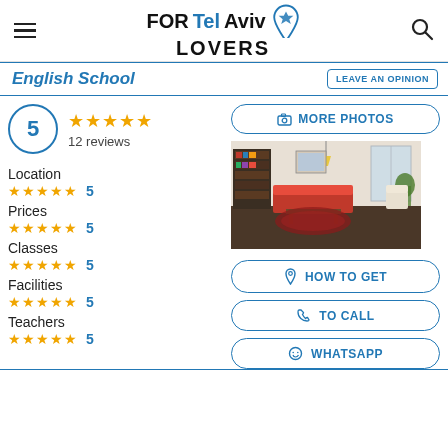FORTelAviv LOVERS
English School
5 | ★★★★★ | 12 reviews
Location ★★★★★ 5
Prices ★★★★★ 5
Classes ★★★★★ 5
Facilities ★★★★★ 5
Teachers ★★★★★ 5
[Figure (photo): Interior of English school classroom/lounge with bookshelves, seating area, red rug, and windows]
MORE PHOTOS
HOW TO GET
TO CALL
WHATSAPP